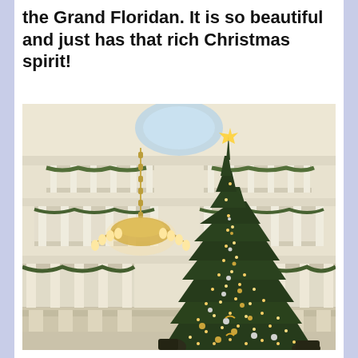the Grand Floridan. It is so beautiful and just has that rich Christmas spirit!
[Figure (photo): Interior of the Grand Floridan hotel lobby showing a massive decorated Christmas tree reaching up to the ceiling, a large ornate chandelier to the left, circular multi-story balconies with white railings decorated with garland, and a skylight dome at the top. The photo is taken from ground level looking up.]